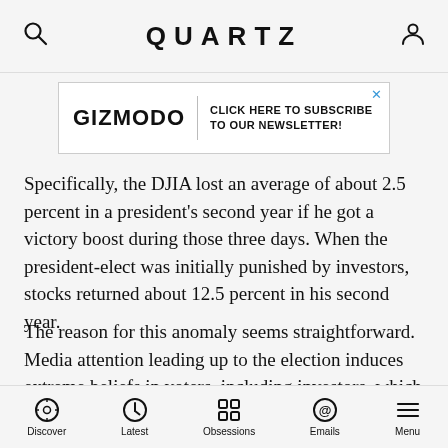QUARTZ
[Figure (other): Gizmodo advertisement banner: GIZMODO | CLICK HERE TO SUBSCRIBE TO OUR NEWSLETTER!]
Specifically, the DJIA lost an average of about 2.5 percent in a president's second year if he got a victory boost during those three days. When the president-elect was initially punished by investors, stocks returned about 12.5 percent in his second year.
The reason for this anomaly seems straightforward. Media attention leading up to the election induces extreme beliefs in voters, including investors, which are reflected in trading decisions as soon as the results are known. So if the market reacts negatively to the election's outcome and the president turns out to be not
Discover  Latest  Obsessions  Emails  Menu